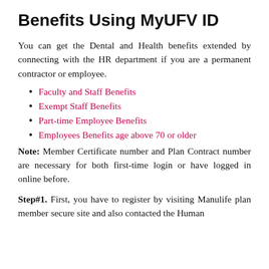Benefits Using MyUFV ID
You can get the Dental and Health benefits extended by connecting with the HR department if you are a permanent contractor or employee.
Faculty and Staff Benefits
Exempt Staff Benefits
Part-time Employee Benefits
Employees Benefits age above 70 or older
Note: Member Certificate number and Plan Contract number are necessary for both first-time login or have logged in online before.
Step#1. First, you have to register by visiting Manulife plan member secure site and also contacted the Human